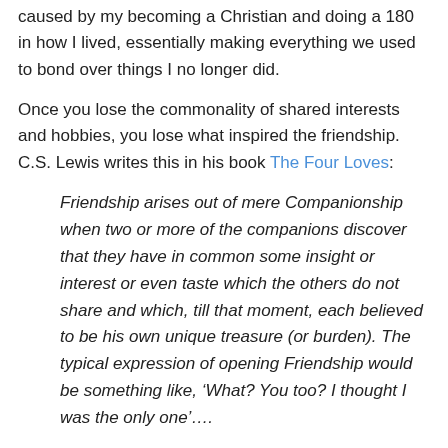caused by my becoming a Christian and doing a 180 in how I lived, essentially making everything we used to bond over things I no longer did.
Once you lose the commonality of shared interests and hobbies, you lose what inspired the friendship. C.S. Lewis writes this in his book The Four Loves:
Friendship arises out of mere Companionship when two or more of the companions discover that they have in common some insight or interest or even taste which the others do not share and which, till that moment, each believed to be his own unique treasure (or burden). The typical expression of opening Friendship would be something like, ‘What? You too? I thought I was the only one’….